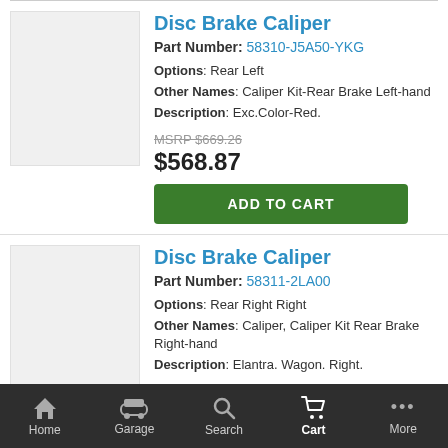[Figure (photo): Product image placeholder for Disc Brake Caliper, light gray rectangle]
Disc Brake Caliper
Part Number: 58310-J5A50-YKG
Options: Rear Left
Other Names: Caliper Kit-Rear Brake Left-hand
Description: Exc.Color-Red.
MSRP $669.26
$568.87
ADD TO CART
[Figure (photo): Product image placeholder for Disc Brake Caliper, light gray rectangle]
Disc Brake Caliper
Part Number: 58311-2LA00
Options: Rear Right Right
Other Names: Caliper, Caliper Kit Rear Brake Right-hand
Description: Elantra. Wagon. Right.
Home  Garage  Search  Cart  More